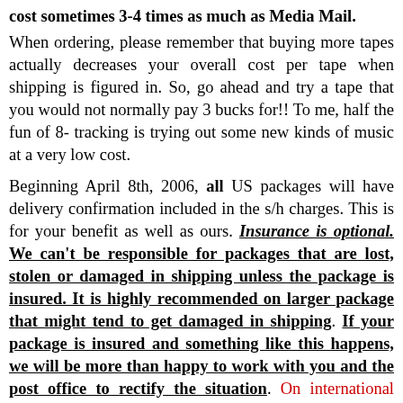cost sometimes 3-4 times as much as Media Mail.
When ordering, please remember that buying more tapes actually decreases your overall cost per tape when shipping is figured in. So, go ahead and try a tape that you would not normally pay 3 bucks for!! To me, half the fun of 8-tracking is trying out some new kinds of music at a very low cost.
Beginning April 8th, 2006, all US packages will have delivery confirmation included in the s/h charges. This is for your benefit as well as ours. Insurance is optional. We can't be responsible for packages that are lost, stolen or damaged in shipping unless the package is insured. It is highly recommended on larger package that might tend to get damaged in shipping. If your package is insured and something like this happens, we will be more than happy to work with you and the post office to rectify the situation. On international orders, there is tracking on First Class International, but once it leaves the States, can not be tracked further. The only packages that can be tracked fully are Global Express, Priority Express International, and